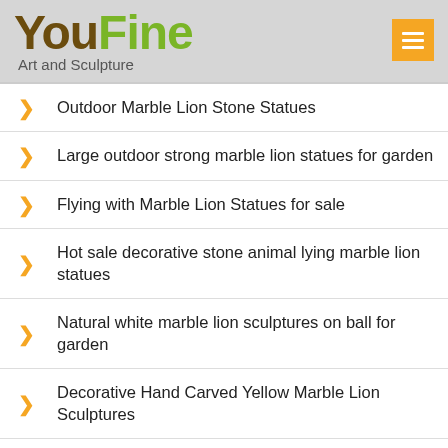[Figure (logo): YouFine Art and Sculpture logo with brown 'You' and green 'Fine' text, menu button in orange]
Outdoor Marble Lion Stone Statues
Large outdoor strong marble lion statues for garden
Flying with Marble Lion Statues for sale
Hot sale decorative stone animal lying marble lion statues
Natural white marble lion sculptures on ball for garden
Decorative Hand Carved Yellow Marble Lion Sculptures
Classic natural modern white marble Lion Statues
Outdoor garden stone carving marble lion for decoration